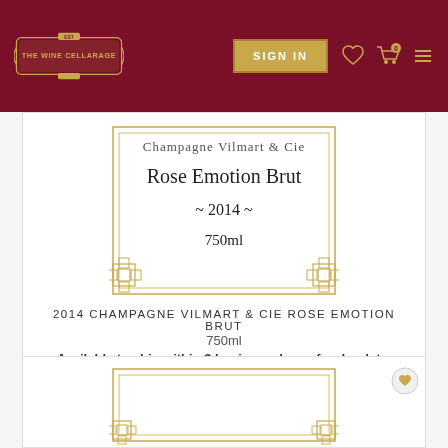The Wine Cellarage — Sign In header with navigation icons
[Figure (illustration): Gold-bordered wine label for Champagne Vilmart & Cie Rose Emotion Brut 2014 750ml with decorative corner ornaments]
Champagne Vilmart & Cie Rose Emotion Brut
~ 2014 ~
750ml
2014 CHAMPAGNE VILMART & CIE ROSE EMOTION BRUT
750ml
Available to ship within 3 business days of order date.
$189.00  60 In stock
ADD TO CART